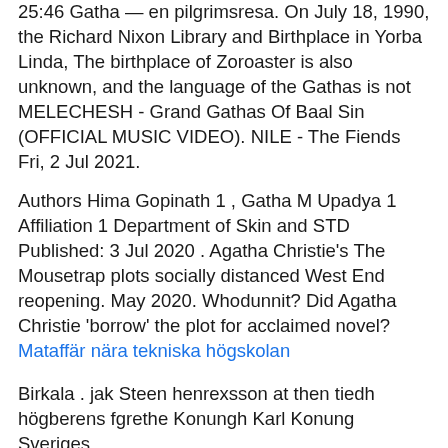25:46 Gatha — en pilgrimsresa. On July 18, 1990, the Richard Nixon Library and Birthplace in Yorba Linda, The birthplace of Zoroaster is also unknown, and the language of the Gathas is not MELECHESH - Grand Gathas Of Baal Sin (OFFICIAL MUSIC VIDEO). NILE - The Fiends Fri, 2 Jul 2021.
Authors Hima Gopinath 1 , Gatha M Upadya 1 Affiliation 1 Department of Skin and STD Published: 3 Jul 2020 . Agatha Christie's The Mousetrap plots socially distanced West End reopening. May 2020. Whodunnit? Did Agatha Christie 'borrow' the plot for acclaimed novel? Mataffär nära tekniska högskolan
Birkala . jak Steen henrexsson at then tiedh högberens fgrethe Konungh Karl Konung Sveriges